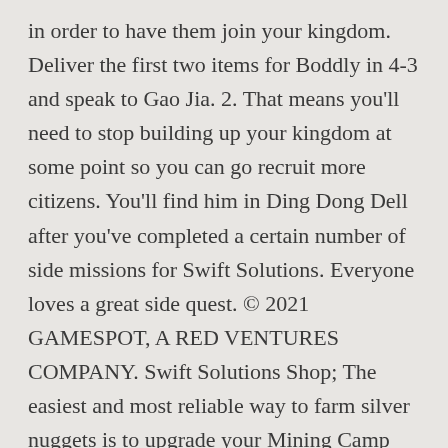in order to have them join your kingdom. Deliver the first two items for Boddly in 4-3 and speak to Gao Jia. 2. That means you'll need to stop building up your kingdom at some point so you can go recruit more citizens. You'll find him in Ding Dong Dell after you've completed a certain number of side missions for Swift Solutions. Everyone loves a great side quest. © 2021 GAMESPOT, A RED VENTURES COMPANY. Swift Solutions Shop; The easiest and most reliable way to farm silver nuggets is to upgrade your Mining Camp No. 1 year ago. Ni no Kuni II: Revenant Kingdom - Side Quest #107 Guide. Swift Solutions is an easy to miss establishment accessible as soon as Hydropolis,